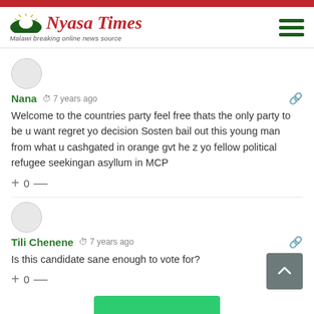Nyasa Times — Malawi breaking online news source
Nana · 7 years ago
Welcome to the countries party feel free thats the only party to be u want regret yo decision Sosten bail out this young man from what u cashgated in orange gvt he z yo fellow political refugee seekingan asyllum in MCP
+0—
Tili Chenene · 7 years ago
Is this candidate sane enough to vote for?
+0—